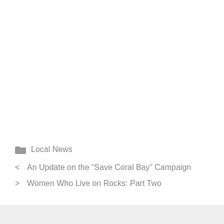Local News
An Update on the “Save Coral Bay” Campaign
Women Who Live on Rocks: Part Two